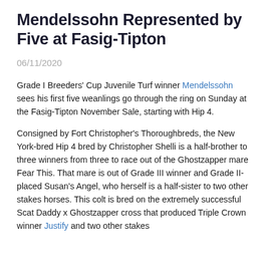Mendelssohn Represented by Five at Fasig-Tipton
06/11/2020
Grade I Breeders' Cup Juvenile Turf winner Mendelssohn sees his first five weanlings go through the ring on Sunday at the Fasig-Tipton November Sale, starting with Hip 4.
Consigned by Fort Christopher's Thoroughbreds, the New York-bred Hip 4 bred by Christopher Shelli is a half-brother to three winners from three to race out of the Ghostzapper mare Fear This. That mare is out of Grade III winner and Grade II-placed Susan's Angel, who herself is a half-sister to two other stakes horses. This colt is bred on the extremely successful Scat Daddy x Ghostzapper cross that produced Triple Crown winner Justify and two other stakes